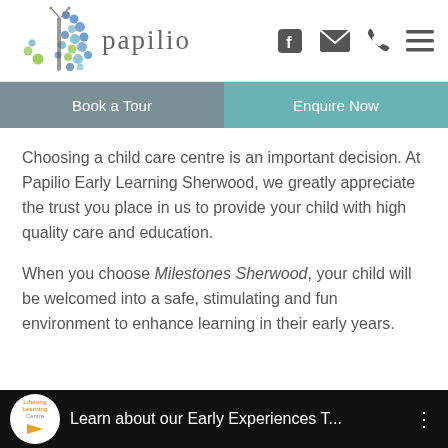[Figure (logo): Papilio Early Learning butterfly logo with dots in blue, teal, and green, beside the text 'papilio']
[Figure (infographic): Navigation icons: Facebook, envelope/email, phone, hamburger menu]
[Figure (infographic): Two CTA buttons: 'Book a Tour' (gray-blue) and 'Enquire Now' (teal)]
Choosing a child care centre is an important decision. At Papilio Early Learning Sherwood, we greatly appreciate the trust you place in us to provide your child with high quality care and education.
When you choose Milestones Sherwood, your child will be welcomed into a safe, stimulating and fun environment to enhance learning in their early years.
[Figure (screenshot): Video thumbnail bar with Lifelong Learning Centre badge and title 'Learn about our Early Experiences T...' on dark background with three-dot menu]